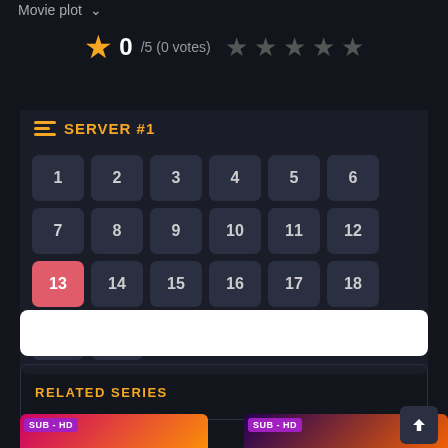Movie plot ∨
★ 0 /5 (0 votes) ★★★★★
SERVER #1
1 2 3 4 5 6 7 8 9 10 11 12 13 14 15 16 17 18 19 20
[Figure (other): White player embed bar]
RELATED SERIES
LAST UPDATE
[Figure (photo): SUB - HD thumbnail left]
[Figure (photo): SUB - HD thumbnail right]